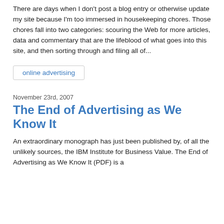There are days when I don't post a blog entry or otherwise update my site because I'm too immersed in housekeeping chores. Those chores fall into two categories: scouring the Web for more articles, data and commentary that are the lifeblood of what goes into this site, and then sorting through and filing all of...
online advertising
November 23rd, 2007
The End of Advertising as We Know It
An extraordinary monograph has just been published by, of all the unlikely sources, the IBM Institute for Business Value. The End of Advertising as We Know It (PDF) is a